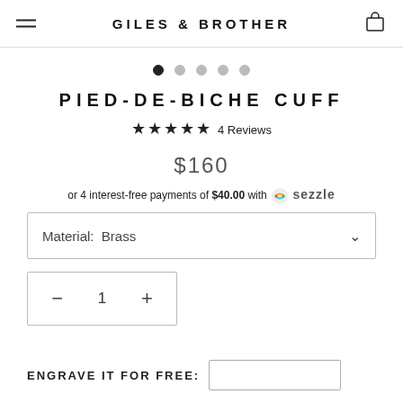GILES & BROTHER
[Figure (other): Image carousel dot indicators: one filled dot and four empty dots]
PIED-DE-BICHE CUFF
★★★★★ 4 Reviews
$160
or 4 interest-free payments of $40.00 with Sezzle
Material: Brass
1
ENGRAVE IT FOR FREE: